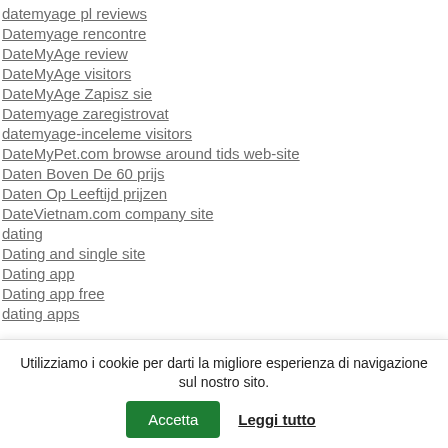datemyage pl reviews
Datemyage rencontre
DateMyAge review
DateMyAge visitors
DateMyAge Zapisz sie
Datemyage zaregistrovat
datemyage-inceleme visitors
DateMyPet.com browse around tids web-site
Daten Boven De 60 prijs
Daten Op Leeftijd prijzen
DateVietnam.com company site
dating
Dating and single site
Dating app
Dating app free
dating apps
Utilizziamo i cookie per darti la migliore esperienza di navigazione sul nostro sito. Accetta Leggi tutto